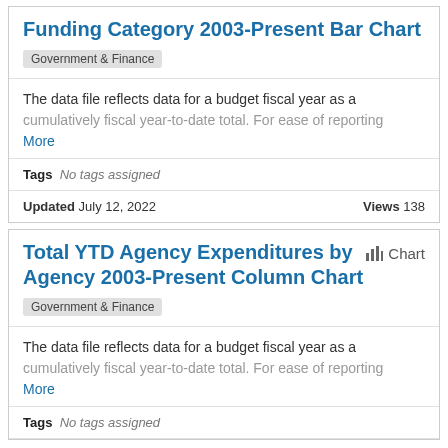Funding Category 2003-Present Bar Chart
Government & Finance
The data file reflects data for a budget fiscal year as a cumulatively fiscal year-to-date total. For ease of reporting More
Tags No tags assigned
Updated July 12, 2022    Views 138
Total YTD Agency Expenditures by Agency 2003-Present Column Chart
Government & Finance
The data file reflects data for a budget fiscal year as a cumulatively fiscal year-to-date total. For ease of reporting More
Tags No tags assigned